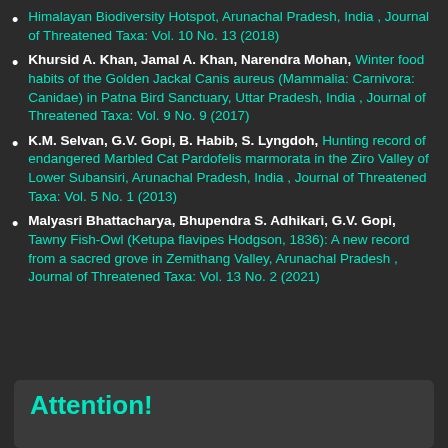Himalayan Biodiversity Hotspot, Arunachal Pradesh, India , Journal of Threatened Taxa: Vol. 10 No. 13 (2018)
Khursid A. Khan, Jamal A. Khan, Narendra Mohan, Winter food habits of the Golden Jackal Canis aureus (Mammalia: Carnivora: Canidae) in Patna Bird Sanctuary, Uttar Pradesh, India , Journal of Threatened Taxa: Vol. 9 No. 9 (2017)
K.M. Selvan, G.V. Gopi, B. Habib, S. Lyngdoh, Hunting record of endangered Marbled Cat Pardofelis marmorata in the Ziro Valley of Lower Subansiri, Arunachal Pradesh, India , Journal of Threatened Taxa: Vol. 5 No. 1 (2013)
Malyasri Bhattacharya, Bhupendra S. Adhikari, G.V. Gopi, Tawny Fish-Owl (Ketupa flavipes Hodgson, 1836): A new record from a sacred grove in Zemithang Valley, Arunachal Pradesh , Journal of Threatened Taxa: Vol. 13 No. 2 (2021)
Attention!